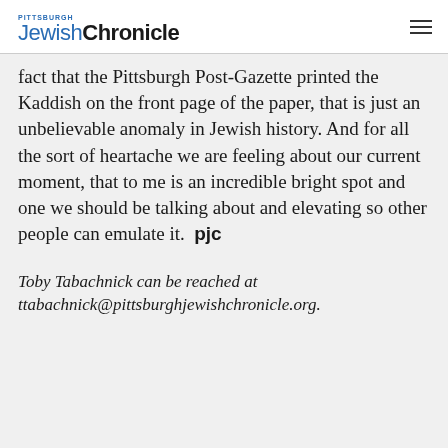PITTSBURGH JewishChronicle
fact that the Pittsburgh Post-Gazette printed the Kaddish on the front page of the paper, that is just an unbelievable anomaly in Jewish history. And for all the sort of heartache we are feeling about our current moment, that to me is an incredible bright spot and one we should be talking about and elevating so other people can emulate it.  pjc
Toby Tabachnick can be reached at ttabachnick@pittsburghjewishchronicle.org.